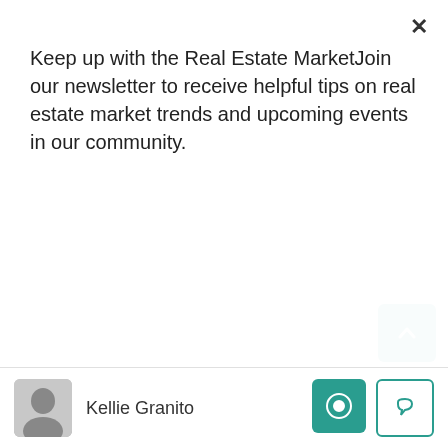Keep up with the Real Estate MarketJoin our newsletter to receive helpful tips on real estate market trends and upcoming events in our community.
[Figure (screenshot): Subscribe button (teal/green background, white bold text)]
[Figure (photo): Partial property photo at top of listing card, green/trees]
4  3  1849 Sq. Ft.
HOME, SINGLE FAMILY HOME
[Figure (photo): Property photo: house with trees and shrubs, Oceanside CA]
190 Bautista Ct. Unit 96, Oceanside, CA
$2,250
2  2  1091 Sq Ft
CONDO
[Figure (photo): Partial property photo: interior view, San Diego CA 92130]
12737 Via Nieve, San Diego CA 92130
Kellie Granito